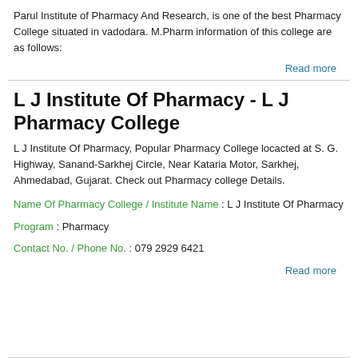Parul Institute of Pharmacy And Research, is one of the best Pharmacy College situated in vadodara. M.Pharm information of this college are as follows:
Read more
L J Institute Of Pharmacy - L J Pharmacy College
L J Institute Of Pharmacy, Popular Pharmacy College locacted at S. G. Highway, Sanand-Sarkhej Circle, Near Kataria Motor, Sarkhej, Ahmedabad, Gujarat. Check out Pharmacy college Details.
Name Of Pharmacy College / Institute Name : L J Institute Of Pharmacy
Program : Pharmacy
Contact No. / Phone No. : 079 2929 6421
Read more